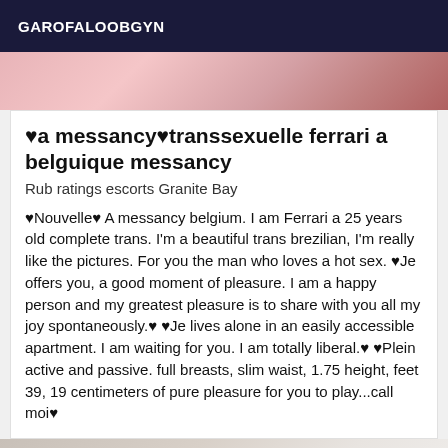GAROFALOOBGYN
[Figure (photo): Partial photo at top of page, colorful blurred background]
♥a messancy♥transsexuelle ferrari a belguique messancy
Rub ratings escorts Granite Bay
♥Nouvelle♥ A messancy belgium. I am Ferrari a 25 years old complete trans. I'm a beautiful trans brezilian, I'm really like the pictures. For you the man who loves a hot sex. ♥Je offers you, a good moment of pleasure. I am a happy person and my greatest pleasure is to share with you all my joy spontaneously.♥ ♥Je lives alone in an easily accessible apartment. I am waiting for you. I am totally liberal.♥ ♥Plein active and passive. full breasts, slim waist, 1.75 height, feet 39, 19 centimeters of pure pleasure for you to play...call moi♥
[Figure (photo): Partial photo at bottom of page, light and blurred]